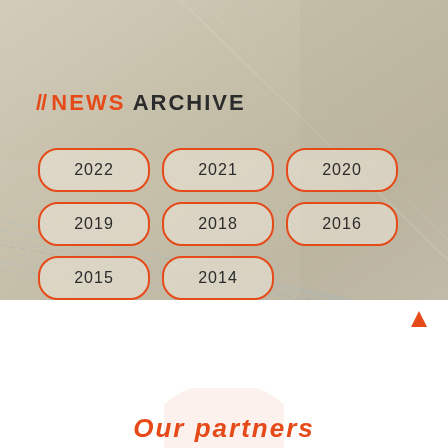[Figure (photo): Aerial or overhead view of a road/track or pool/sports facility, used as a background image behind the News Archive section. Muted sandy/beige tones.]
// NEWS ARCHIVE
2022
2021
2020
2019
2018
2016
2015
2014
Our partners